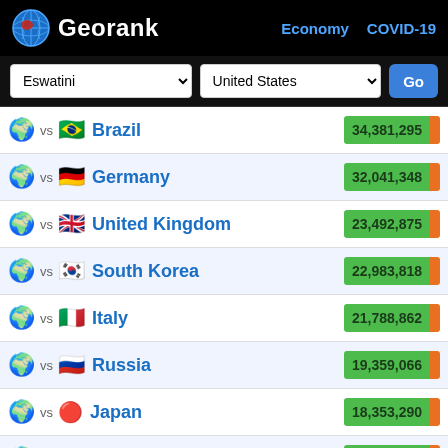Georank — Economy  COVID-19
Eswatini vs United States — Go
vs Brazil — 34,381,295
vs Germany — 32,041,348
vs United Kingdom — 23,492,875
vs South Korea — 22,983,818
vs Italy — 21,788,862
vs Russia — 19,359,066
vs Japan — 18,353,290
vs Turkey — 16,671,848